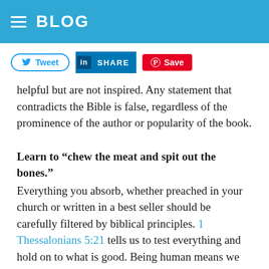BLOG
[Figure (screenshot): Social share buttons: Tweet (Twitter), SHARE (LinkedIn), Save (Pinterest)]
helpful but are not inspired. Any statement that contradicts the Bible is false, regardless of the prominence of the author or popularity of the book.
Learn to “chew the meat and spit out the bones.”
Everything you absorb, whether preached in your church or written in a best seller should be carefully filtered by biblical principles. 1 Thessalonians 5:21 tells us to test everything and hold on to what is good. Being human means we are bound to disagree with everyone about something, and that’s OK. We